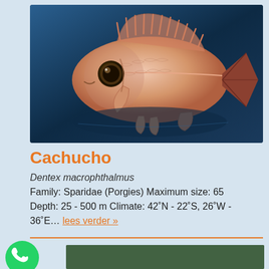[Figure (photo): Photograph of a Cachucho fish (Dentex macrophthalmus) against a dark blue background. The fish is pinkish-orange with large eye, spiny dorsal fin, and dark tail fin.]
Cachucho
Dentex macrophthalmus
Family: Sparidae (Porgies) Maximum size: 65 Depth: 25 - 500 m Climate: 42˚N - 22˚S, 26˚W - 36˚E… lees verder »
[Figure (photo): Partial view of a second photo with dark green background, partially obscured.]
[Figure (logo): WhatsApp logo — green circle with white phone handset icon.]